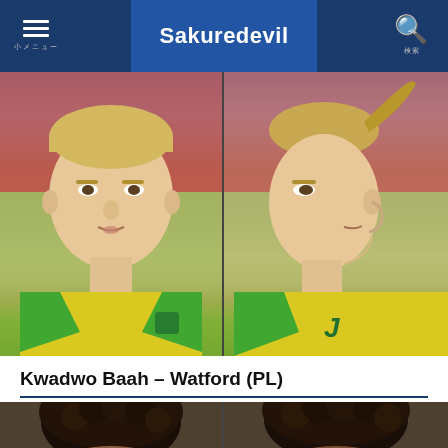Sakuredevil
[Figure (photo): Two-panel screenshot of a football video game player face scan showing front and side profile views of a young male player wearing a yellow and green Watford jersey]
Kwadwo Baah – Watford (PL)
[Figure (photo): Partial two-panel screenshot of another football video game player face scan, partially visible at bottom of page, showing a dark-skinned player with an afro hairstyle]